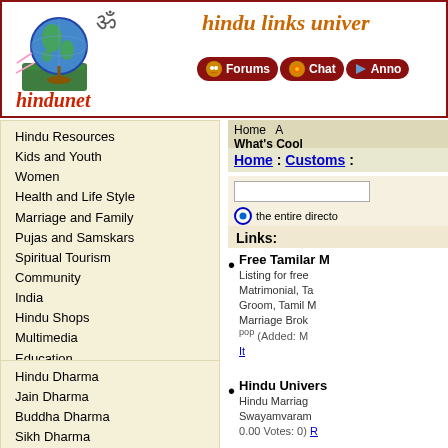hindunet - hindu links universe - Forums | Chat | Anno
Home  A
What's Cool
Home : Customs :
the entire directo
Links:
Hindu Resources
Kids and Youth
Women
Health and Life Style
Marriage and Family
Pujas and Samskars
Spiritual Tourism
Community
India
Hindu Shops
Multimedia
Education
User Created
Sites
Photoalbum
Clubs
Free Tamilar M... - Listing for free... Matrimonial, Ta... Groom, Tamil M... Marriage Brok... pop (Added: M... It
Hindu Univers... - Hindu Marriag... Swayamvaram... 0.00 Votes: 0) R
Hindu Dharma
Jain Dharma
Buddha Dharma
Sikh Dharma
Hindu TV...